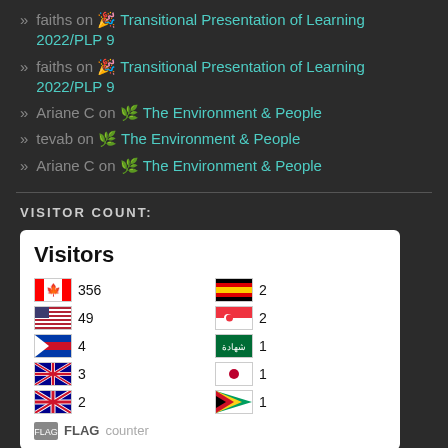faiths on 🎉 Transitional Presentation of Learning 2022/PLP 9
faiths on 🎉 Transitional Presentation of Learning 2022/PLP 9
Ariane C on 🌱 The Environment & People
tevab on 🌱 The Environment & People
Ariane C on 🌱 The Environment & People
VISITOR COUNT:
[Figure (infographic): Visitor counter widget showing flags and counts. Visitors: Canada 356, USA 49, Philippines 4, Australia 3, UK 2, Germany 2, Singapore 2, Saudi Arabia 1, Japan 1, Guyana 1. FLAG counter logo at bottom.]